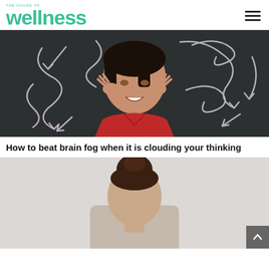THE HOUSE OF wellness
[Figure (photo): Woman in red top lying on dark chalkboard background with tangled white chalk arrows drawn around her, pressing fingers to her temples with a stressed expression]
How to beat brain fog when it is clouding your thinking
[Figure (photo): Person with hair in a bun, partial view from behind/side, on a light background]